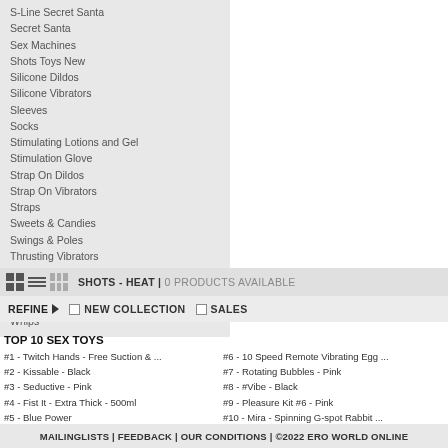S-Line Secret Santa
Secret Santa
Sex Machines
Shots Toys New
Silicone Dildos
Silicone Vibrators
Sleeves
Socks
Stimulating Lotions and Gel
Stimulation Glove
Strap On Dildos
Strap On Vibrators
Straps
Sweets & Candies
Swings & Poles
Thrusting Vibrators
Tightening Gels & Creams
Urethral Toys
Valentine & Love Gifts
Whips
SHOTS - HEAT | 0 PRODUCTS AVAILABLE
REFINE  NEW COLLECTION  SALES
TOP 10 SEX TOYS
#1 - Twitch Hands - Free Suction & ...
#2 - Kissable - Black
#3 - Seductive - Pink
#4 - Fist It - Extra Thick - 500ml
#5 - Blue Power
#6 - 10 Speed Remote Vibrating Egg ...
#7 - Rotating Bubbles - Pink
#8 - #Vibe - Black
#9 - Pleasure Kit #6 - Pink
#10 - Mira - Spinning G-spot Rabbit ...
MAILINGLISTS | FEEDBACK | OUR CONDITIONS | ©2022 ERO WORLD ONLINE